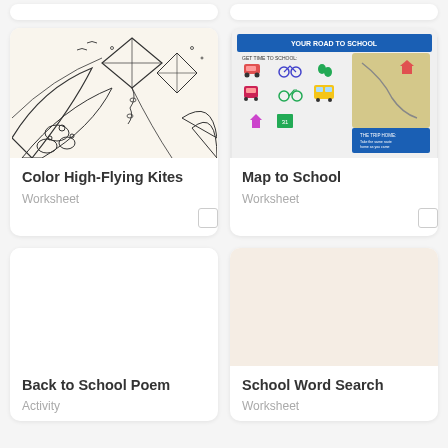[Figure (illustration): Partial top of two cards (truncated at top of page)]
[Figure (illustration): Black and white line drawing of high-flying kites and foliage for coloring]
Color High-Flying Kites
Worksheet
[Figure (illustration): Colorful infographic map showing ways to get to school including car, bike, foot, train, scooter, bus, and walking with a map graphic]
Map to School
Worksheet
Back to School Poem
Activity
School Word Search
Worksheet